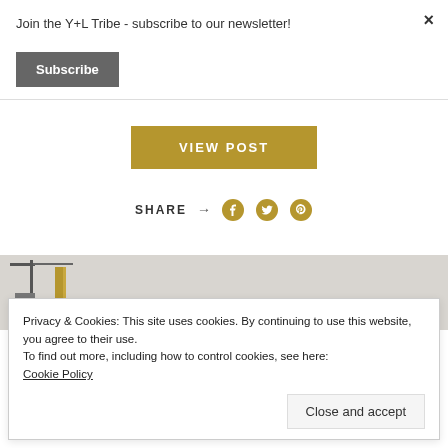Join the Y+L Tribe - subscribe to our newsletter!
Subscribe
×
VIEW POST
SHARE →
[Figure (screenshot): Partial image strip showing a blurred/cropped photo]
Privacy & Cookies: This site uses cookies. By continuing to use this website, you agree to their use.
To find out more, including how to control cookies, see here:
Cookie Policy
Close and accept